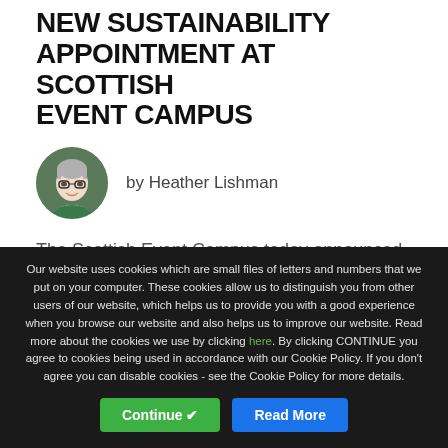NEW SUSTAINABILITY APPOINTMENT AT SCOTTISH EVENT CAMPUS
[Figure (photo): Circular portrait photo of Heather Lishman, a woman with short grey hair and glasses, wearing a green top, against a green leafy background.]
by Heather Lishman
The Scottish Event Campus today announced the appointment of Jennifer Ennis as Environment & Waste Manager.
The new post comes at a pivotal moment for the Campus
Our website uses cookies which are small files of letters and numbers that we put on your computer. These cookies allow us to distinguish you from other users of our website, which helps us to provide you with a good experience when you browse our website and also helps us to improve our website. Read more about the cookies we use by clicking here. By clicking CONTINUE you agree to cookies being used in accordance with our Cookie Policy. If you don't agree you can disable cookies - see the Cookie Policy for more details.